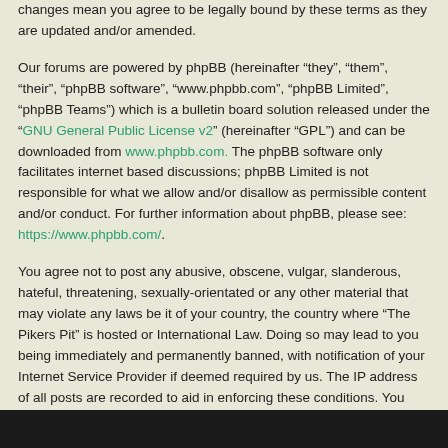changes mean you agree to be legally bound by these terms as they are updated and/or amended.
Our forums are powered by phpBB (hereinafter “they”, “them”, “their”, “phpBB software”, “www.phpbb.com”, “phpBB Limited”, “phpBB Teams”) which is a bulletin board solution released under the “GNU General Public License v2” (hereinafter “GPL”) and can be downloaded from www.phpbb.com. The phpBB software only facilitates internet based discussions; phpBB Limited is not responsible for what we allow and/or disallow as permissible content and/or conduct. For further information about phpBB, please see: https://www.phpbb.com/.
You agree not to post any abusive, obscene, vulgar, slanderous, hateful, threatening, sexually-orientated or any other material that may violate any laws be it of your country, the country where “The Pikers Pit” is hosted or International Law. Doing so may lead to you being immediately and permanently banned, with notification of your Internet Service Provider if deemed required by us. The IP address of all posts are recorded to aid in enforcing these conditions. You agree that “The Pikers Pit” have the right to remove, edit, move or close any topic at any time should we see fit. As a user you agree to any information you have entered to being stored in a database. While this information will not be disclosed to any third party without your consent, neither “The Pikers Pit” nor phpBB shall be held responsible for any hacking attempt that may lead to the data being compromised.
[Figure (photo): Dark footer bar at the bottom of the page]